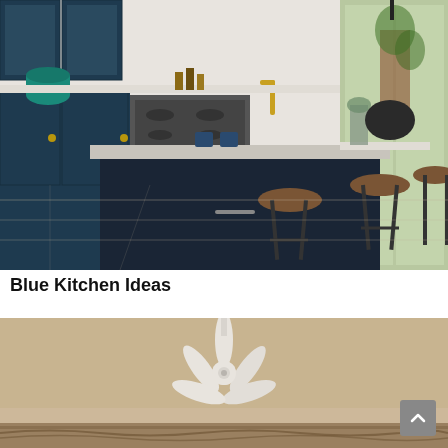[Figure (photo): Modern blue kitchen with dark navy island, marble countertops, brass fixtures, bar stools with wooden seats and metal legs, gas stove, glass-front upper cabinets, and sliding glass doors to garden.]
Blue Kitchen Ideas
[Figure (photo): Bedroom ceiling with a white ceiling fan mounted on a beige ceiling, with decorative rug visible at the bottom edge.]